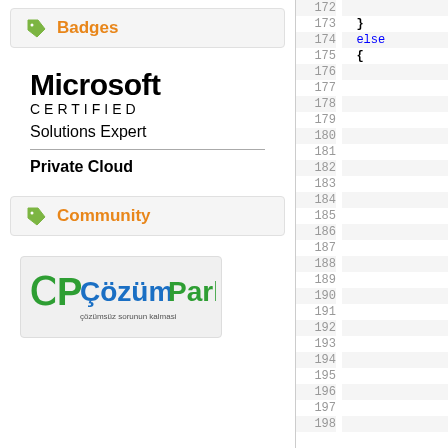Badges
[Figure (logo): Microsoft Certified Solutions Expert - Private Cloud badge]
Community
[Figure (logo): CozumPark logo - çözümsüz sorunun kalmasi]
172 173 } 174 else 175 { 176 177 178 179 180 181 182 183 184 185 186 187 188 189 190 191 192 193 194 195 196 197 198 199